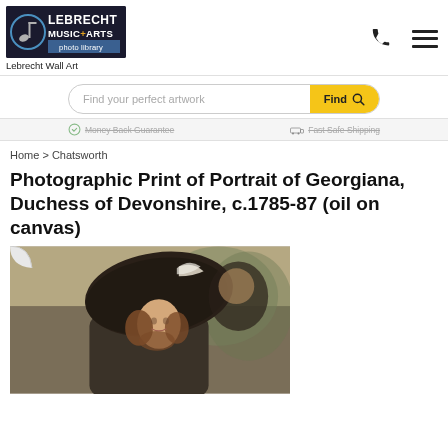[Figure (logo): Lebrecht Music+Arts photo library logo in dark blue/white, with musical note icon]
Lebrecht Wall Art
[Figure (infographic): Search bar with placeholder 'Find your perfect artwork' and yellow Find button with magnifier icon]
Money Back Guarantee   Fast Safe Shipping
Home > Chatsworth
Photographic Print of Portrait of Georgiana, Duchess of Devonshire, c.1785-87 (oil on canvas)
[Figure (photo): Portrait painting of Georgiana, Duchess of Devonshire, c.1785-87 (oil on canvas), showing a woman with curly auburn hair and a large dark hat with white feather, painted background.]